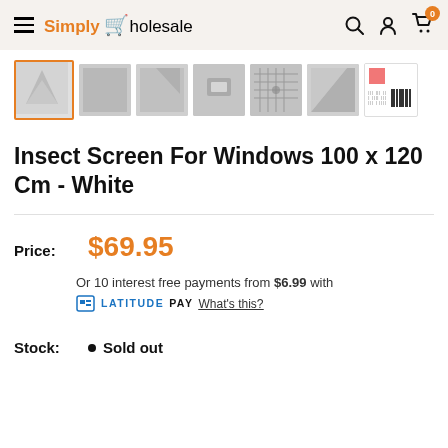Simply Wholesale
[Figure (screenshot): Product thumbnail image strip showing 7 thumbnails of an insect screen window product; first thumbnail (white insect screen panel) is selected with orange border, followed by 5 more product detail thumbnails and a barcode/label image]
Insect Screen For Windows 100 x 120 Cm - White
Price: $69.95
Or 10 interest free payments from $6.99 with LATITUDE PAY What's this?
Stock: • Sold out